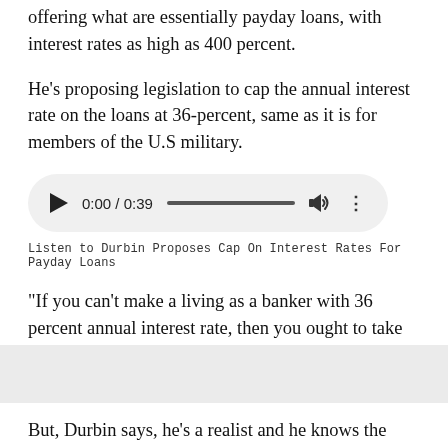offering what are essentially payday loans, with interest rates as high as 400 percent.
He's proposing legislation to cap the annual interest rate on the loans at 36-percent, same as it is for members of the U.S military.
[Figure (other): Audio player showing 0:00 / 0:39 with play button, progress bar, volume icon, and options menu]
Listen to Durbin Proposes Cap On Interest Rates For Payday Loans
"If you can't make a living as a banker with 36 percent annual interest rate, then you ought to take up some other profession," said Durbin.
But, Durbin says, he's a realist and he knows the